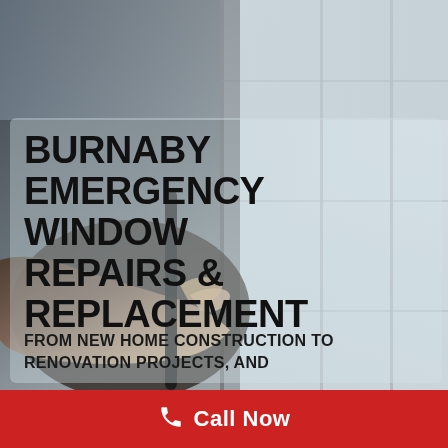[Figure (photo): Background photo of a hand installing or adjusting a window frame/seal, showing dark window frame elements and lighter window panel. Semi-transparent overlay box covers the text area.]
BURNABY EMERGENCY WINDOW REPAIRS & REPLACEMENT
FROM NEW HOME CONSTRUCTION TO RENOVATION PROJECTS, AND
Call Now